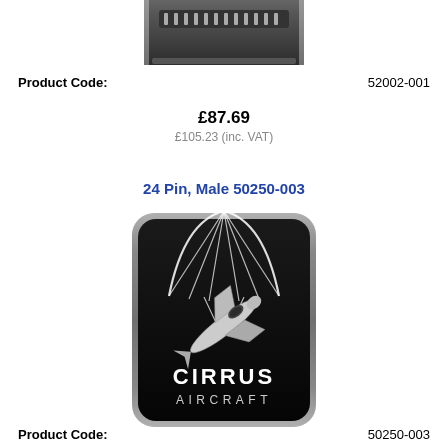[Figure (photo): Partial image of an electronic connector device, dark/black, cropped at top of page]
Product Code:    52002-001
£87.69
£105.23 (inc. VAT)
24 Pin, Male 50250-003
[Figure (logo): Cirrus Aircraft logo: black rounded rectangle badge with silver aircraft and parachute graphic above 'CIRRUS AIRCRAFT' text in white]
Product Code:    50250-003